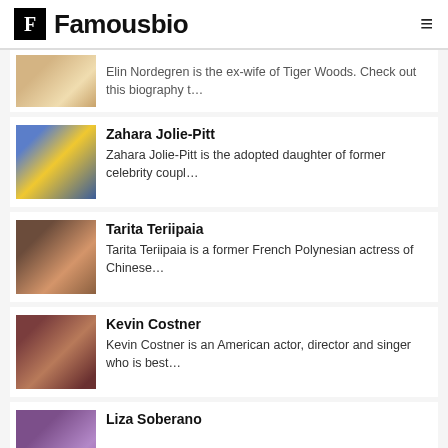Famousbio
Elin Nordegren is the ex-wife of Tiger Woods. Check out this biography t…
Zahara Jolie-Pitt
Zahara Jolie-Pitt is the adopted daughter of former celebrity coupl…
Tarita Teriipaia
Tarita Teriipaia is a former French Polynesian actress of Chinese…
Kevin Costner
Kevin Costner is an American actor, director and singer who is best…
Liza Soberano